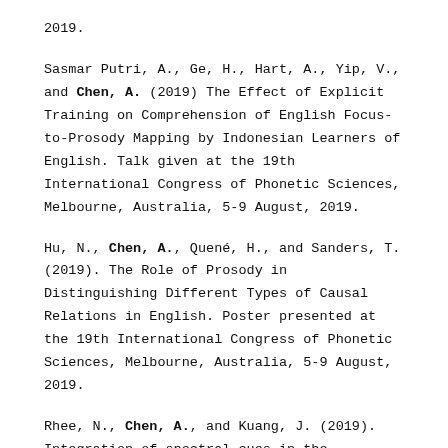2019.
Sasmar Putri, A., Ge, H., Hart, A., Yip, V., and Chen, A. (2019) The Effect of Explicit Training on Comprehension of English Focus-to-Prosody Mapping by Indonesian Learners of English. Talk given at the 19th International Congress of Phonetic Sciences, Melbourne, Australia, 5-9 August, 2019.
Hu, N., Chen, A., Quené, H., and Sanders, T. (2019). The Role of Prosody in Distinguishing Different Types of Causal Relations in English. Poster presented at the 19th International Congress of Phonetic Sciences, Melbourne, Australia, 5-9 August, 2019.
Rhee, N., Chen, A., and Kuang, J. (2019). Integration of spectral cues in the development of Mandarin tone production. Poster presented at the 19th International Congress of Phonetic Sciences, Melbourne, Australia, 5-